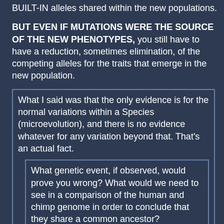BUILT-IN alleles shared within the new populations.
BUT EVEN IF MUTATIONS WERE THE SOURCE OF THE NEW PHENOTYPES, you still have to have a reduction, sometimes elimination, of the competing alleles for the traits that emerge in the new population.
What I said was that the only evidence is for the normal variations within a Species (microevolution), and there is no evidence whatever for any variation beyond that. That's an actual fact.
What genetic event, if observed, would prove you wrong? What would we need to see in a comparison of the human and chimp genome in order to conclude that they share a common ancestor?
There isn't such a thing. You would run out of genetic potentials for change in phenotypes long long long before you get to